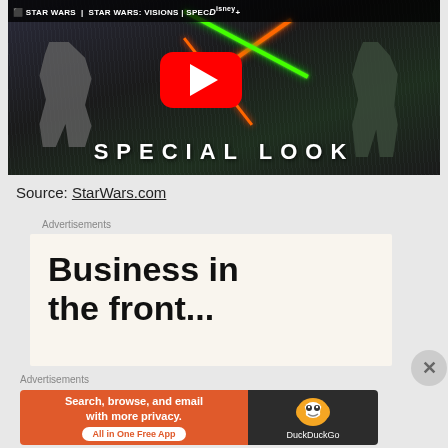[Figure (screenshot): YouTube video thumbnail for Star Wars: Visions Special Look on Disney+, showing anime-style characters with lightsabers in the rain, with a red YouTube play button in the center and 'SPECIAL LOOK' text at the bottom. Top bar shows Star Wars logo and Disney+ branding.]
Source: StarWars.com
Advertisements
[Figure (screenshot): Advertisement with white/cream background showing large bold text 'Business in the front...']
Advertisements
[Figure (screenshot): DuckDuckGo advertisement: orange section with text 'Search, browse, and email with more privacy. All in One Free App', dark section with DuckDuckGo duck logo and name.]